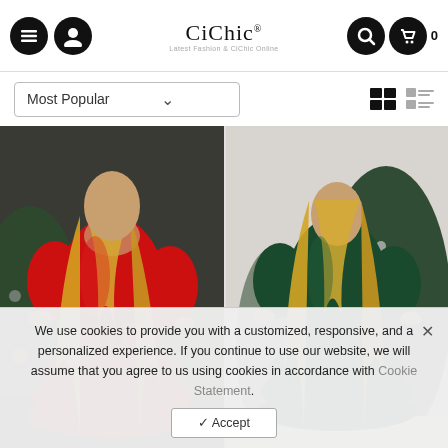CiChic — Latest Fashion & CiChic Online
Most Popular
[Figure (photo): Woman wearing a red ruffled long-sleeve mini dress with tie waist, standing in front of a Christmas tree with ornaments]
[Figure (photo): Woman wearing a dark green ruffled long-sleeve mini dress with tie waist, standing in front of a Christmas tree with ornaments]
We use cookies to provide you with a customized, responsive, and a personalized experience. If you continue to use our website, we will assume that you agree to us using cookies in accordance with Cookie Statement.
✔ Accept